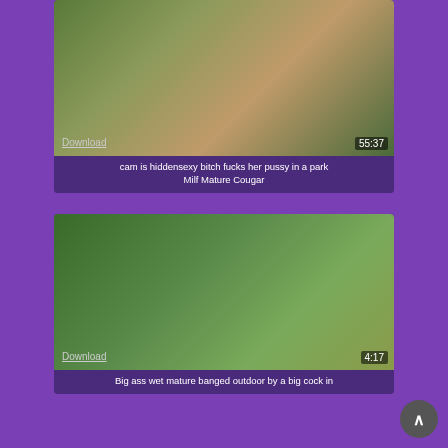[Figure (screenshot): Video thumbnail showing two people outdoors]
cam is hiddensexy bitch fucks her pussy in a park Milf Mature Cougar
[Figure (screenshot): Video thumbnail showing two people outdoors near vegetation]
Big ass wet mature banged outdoor by a big cock in